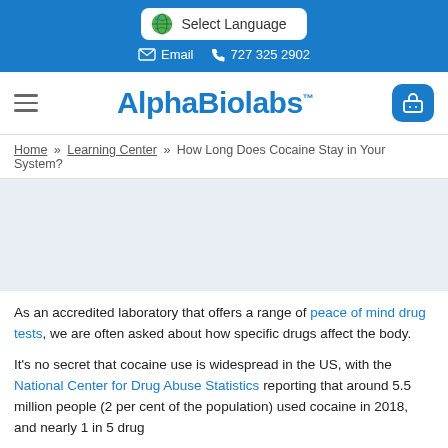Select Language | Email | 727 325 2902
[Figure (logo): AlphaBiolabs logo with navigation hamburger menu and cart icon]
Home » Learning Center » How Long Does Cocaine Stay in Your System?
As an accredited laboratory that offers a range of peace of mind drug tests, we are often asked about how specific drugs affect the body.
It's no secret that cocaine use is widespread in the US, with the National Center for Drug Abuse Statistics reporting that around 5.5 million people (2 per cent of the population) used cocaine in 2018, and nearly 1 in 5 drug overdose deaths were attributed to cocaine in 2017, along